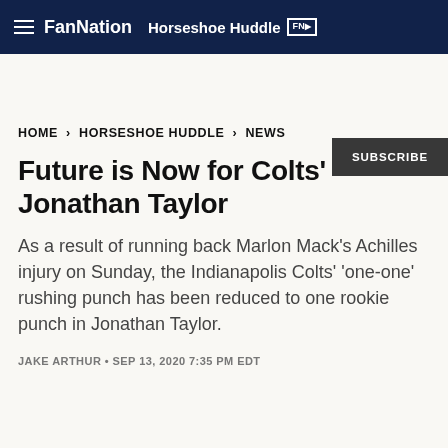FanNation Horseshoe Huddle FN
SUBSCRIBE
HOME > HORSESHOE HUDDLE > NEWS
Future is Now for Colts' Jonathan Taylor
As a result of running back Marlon Mack's Achilles injury on Sunday, the Indianapolis Colts' 'one-one' rushing punch has been reduced to one rookie punch in Jonathan Taylor.
JAKE ARTHUR • SEP 13, 2020 7:35 PM EDT